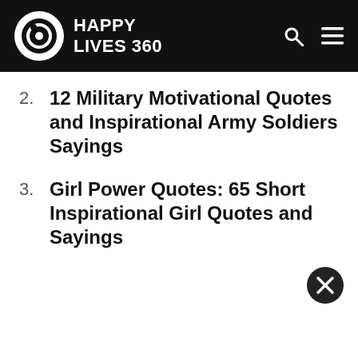HAPPY LIVES 360
2. 12 Military Motivational Quotes and Inspirational Army Soldiers Sayings
3. Girl Power Quotes: 65 Short Inspirational Girl Quotes and Sayings